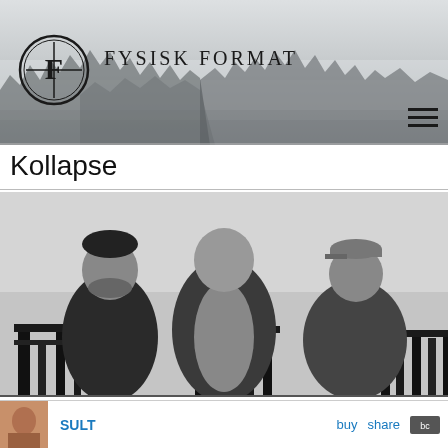[Figure (screenshot): Fysisk Format website header with misty forest background, circular logo with stylized F, and hamburger menu icon]
Kollapse
[Figure (photo): Black and white photo of three men standing behind a fence or gate structure. One wears a beanie, one a hoodie, one a cap. Moody, dark atmosphere.]
SULT  buy  share  bc